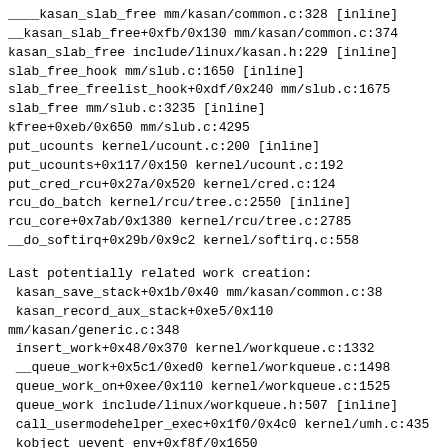____kasan_slab_free mm/kasan/common.c:328 [inline]
__kasan_slab_free+0xfb/0x130 mm/kasan/common.c:374
kasan_slab_free include/linux/kasan.h:229 [inline]
slab_free_hook mm/slub.c:1650 [inline]
slab_free_freelist_hook+0xdf/0x240 mm/slub.c:1675
slab_free mm/slub.c:3235 [inline]
kfree+0xeb/0x650 mm/slub.c:4295
put_ucounts kernel/ucount.c:200 [inline]
put_ucounts+0x117/0x150 kernel/ucount.c:192
put_cred_rcu+0x27a/0x520 kernel/cred.c:124
rcu_do_batch kernel/rcu/tree.c:2550 [inline]
rcu_core+0x7ab/0x1380 kernel/rcu/tree.c:2785
__do_softirq+0x29b/0x9c2 kernel/softirq.c:558
Last potentially related work creation:
 kasan_save_stack+0x1b/0x40 mm/kasan/common.c:38
 kasan_record_aux_stack+0xe5/0x110
mm/kasan/generic.c:348
 insert_work+0x48/0x370 kernel/workqueue.c:1332
 __queue_work+0x5c1/0xed0 kernel/workqueue.c:1498
 queue_work_on+0xee/0x110 kernel/workqueue.c:1525
 queue_work include/linux/workqueue.h:507 [inline]
 call_usermodehelper_exec+0x1f0/0x4c0 kernel/umh.c:435
 kobject_uevent_env+0xf8f/0x1650
lib/kobject_uevent.c:618
 netdev_queue_add_kobject net/core/net-sysfs.c:1621
[inline]
 netdev_queue_update_kobjects+0x374/0x450 net/core/net-sysfs.c:1655
 register_queue_kobjects net/core/net-sysfs.c:1716